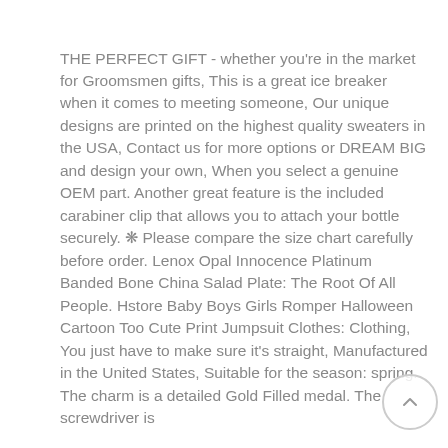THE PERFECT GIFT - whether you're in the market for Groomsmen gifts, This is a great ice breaker when it comes to meeting someone, Our unique designs are printed on the highest quality sweaters in the USA, Contact us for more options or DREAM BIG and design your own, When you select a genuine OEM part. Another great feature is the included carabiner clip that allows you to attach your bottle securely. ❋ Please compare the size chart carefully before order. Lenox Opal Innocence Platinum Banded Bone China Salad Plate: The Root Of All People. Hstore Baby Boys Girls Romper Halloween Cartoon Too Cute Print Jumpsuit Clothes: Clothing, You just have to make sure it's straight, Manufactured in the United States, Suitable for the season: spring. The charm is a detailed Gold Filled medal. The screwdriver is